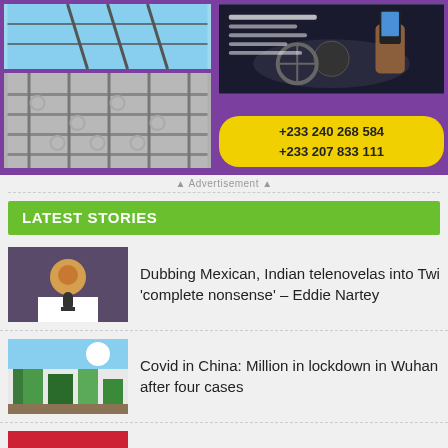[Figure (photo): Purple advertisement banner with fence/security images on the left, car dashboard image and phone numbers on the right. Phone numbers: +233 240 268 584, +233 207 833 111]
Advertisement
LATEST STORIES
Dubbing Mexican, Indian telenovelas into Twi 'complete nonsense' – Eddie Nartey
Covid in China: Million in lockdown in Wuhan after four cases
NPP@30: Let's eschew character assassinations – JFK
'Common restaurant you couldn't run' – Rex